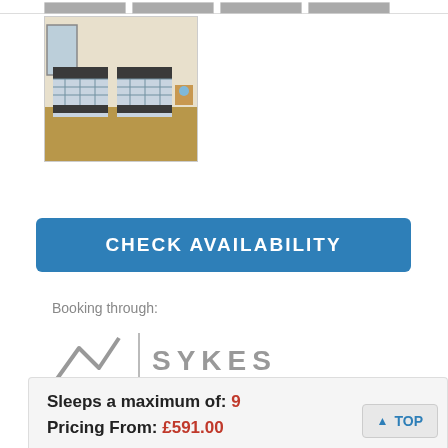[Figure (photo): Thumbnail strip of property photos at top of page, partially visible]
[Figure (photo): Bedroom photo showing two single beds with tartan/plaid bedding, wooden headboards, and wooden flooring]
CHECK AVAILABILITY
Booking through:
[Figure (logo): Sykes Cottages logo with mountain/chevron symbol and vertical divider]
01244 352 197
Sleeps a maximum of: 9
Pricing From: £591.00
TOP